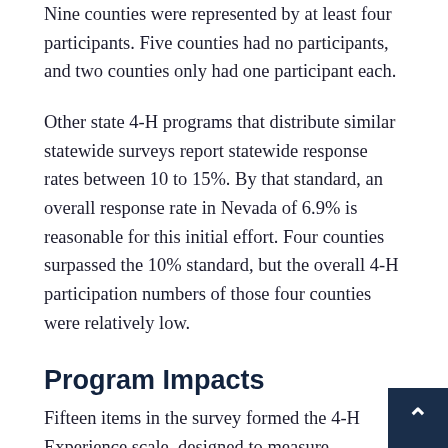Nine counties were represented by at least four participants. Five counties had no participants, and two counties only had one participant each.
Other state 4-H programs that distribute similar statewide surveys report statewide response rates between 10 to 15%. By that standard, an overall response rate in Nevada of 6.9% is reasonable for this initial effort. Four counties surpassed the 10% standard, but the overall 4-H participation numbers of those four counties were relatively low.
Program Impacts
Fifteen items in the survey formed the 4-H Experience scale, designed to measure participants on the eight essential elements of positive youth